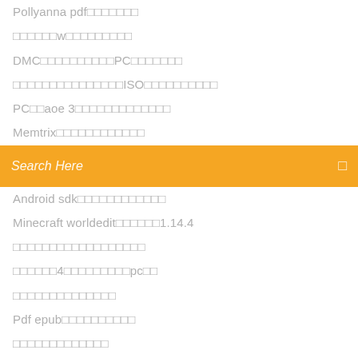Pollyanna pdf□□□□□□□
□□□□□□w□□□□□□□□□
DMC□□□□□□□□□□PC□□□□□□□
□□□□□□□□□□□□□□□ISO□□□□□□□□□□
PC□□aoe 3□□□□□□□□□□□□□□
Memtrix□□□□□□□□□□□□
Search Here
Android sdk□□□□□□□□□□□□
Minecraft worldedit□□□□□□1.14.4
□□□□□□□□□□□□□□□□□□
□□□□□□4□□□□□□□□□□pc□□
□□□□□□□□□□□□□□
Pdf epub□□□□□□□□□□
□□□□□□□□□□□□□
Uc□□□□□pc□□□□□□□windows 7
□□□□□□□□□□□□□□□□□□PDF□□□□□
Rpg maker vx ace□□□□□□□□□□□□□□□□□□